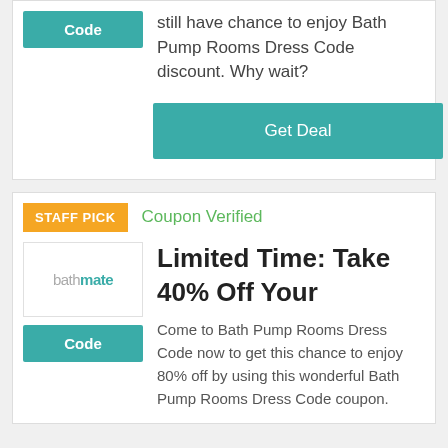still have chance to enjoy Bath Pump Rooms Dress Code discount. Why wait?
Get Deal
STAFF PICK
Coupon Verified
[Figure (logo): Bathmate logo in teal and grey text]
Code
Limited Time: Take 40% Off Your
Come to Bath Pump Rooms Dress Code now to get this chance to enjoy 80% off by using this wonderful Bath Pump Rooms Dress Code coupon.